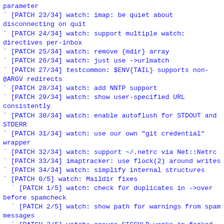` [PATCH 23/34] watch: imap: be quiet about disconnecting on quit
` [PATCH 24/34] watch: support multiple watch: directives per-inbox
` [PATCH 25/34] watch: remove {mdir} array
` [PATCH 26/34] watch: just use ->urlmatch
` [PATCH 27/34] testcommon: $ENV{TAIL} supports non-@ARGV redirects
` [PATCH 28/34] watch: add NNTP support
` [PATCH 29/34] watch: show user-specified URL consistently
` [PATCH 30/34] watch: enable autoflush for STDOUT and STDERR
` [PATCH 31/34] watch: use our own "git credential" wrapper
` [PATCH 32/34] watch: support ~/.netrc via Net::Netrc
` [PATCH 33/34] imaptracker: use flock(2) around writes
` [PATCH 34/34] watch: simplify internal structures
` [PATCH 0/5] watch: Maildir fixes
` [PATCH 1/5] watch: check for duplicates in ->over before spamcheck
` [PATCH 2/5] watch: show path for warnings from spam messages
` [PATCH 3/5] watch: ensure SIGCHLD works in forked children
` [PATCH 4/5] spawn: unblock SIGCHLD in subprocess
` [PATCH 6/5] t/spawn: fix test reliability
` [PATCH 5/5] watch: make waitpid() synchronous for Maildir scans